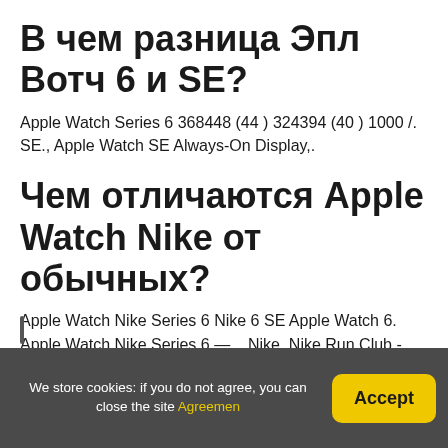В чем разница Эпл Вотч 6 и SE?
Apple Watch Series 6 368448 (44 ) 324394 (40 ) 1000 /. SE., Apple Watch SE Always-On Display,.
Чем отличаются Apple Watch Nike от обычных?
Apple Watch Nike Series 6 Nike 6 SE Apple Watch 6. Apple Watch Nike Series 6 —,,, Nike, Nike Run Club -.
We store cookies: if you do not agree, you can close the site Agreemen